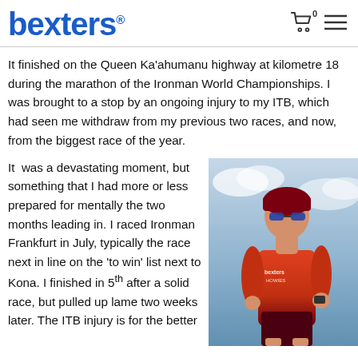bexters®
It finished on the Queen Ka'ahumanu highway at kilometre 18 during the marathon of the Ironman World Championships. I was brought to a stop by an ongoing injury to my ITB, which had seen me withdraw from my previous two races, and now, from the biggest race of the year.
It was a devastating moment, but something that I had more or less prepared for mentally the two months leading in. I raced Ironman Frankfurt in July, typically the race next in line on the 'to win' list next to Kona. I finished in 5th after a solid race, but pulled up lame two weeks later. The ITB injury is for the better
[Figure (photo): Triathlete athlete running in red racing kit with sunglasses and helmet/cap, Bexters branded jersey]